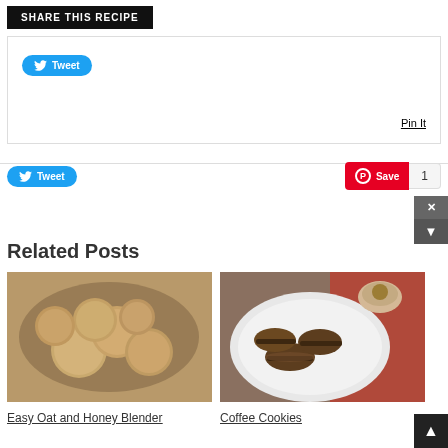SHARE THIS RECIPE
[Figure (screenshot): Social sharing box with Twitter Tweet button and Pinterest Pin It link]
[Figure (screenshot): Social sharing bar with Twitter Tweet button and Pinterest Save button showing count of 1]
Related Posts
[Figure (photo): Bowl of round oat and honey blender cookies on a plate]
Easy Oat and Honey Blender
[Figure (photo): White plate of coffee sandwich cookies with a cup of coffee in background on red patterned cloth]
Coffee Cookies